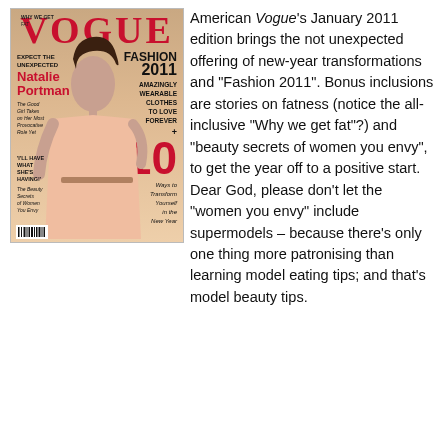[Figure (photo): Cover of American Vogue January 2011 edition featuring Natalie Portman in a pink dress. Text on cover: VOGUE, EXPECT THE UNEXPECTED, Natalie Portman, The Good Girl Takes on Her Most Provocative Role Yet, FASHION 2011, AMAZINGLY WEARABLE CLOTHES TO LOVE FOREVER, + 10 Ways to Transform Yourself in the New Year, 'I'LL HAVE WHAT SHE'S HAVING!' The Beauty Secrets of Women You Envy, WHY WE GET FAT]
American Vogue's January 2011 edition brings the not unexpected offering of new-year transformations and "Fashion 2011". Bonus inclusions are stories on fatness (notice the all-inclusive "Why we get fat"?) and "beauty secrets of women you envy", to get the year off to a positive start. Dear God, please don't let the "women you envy" include supermodels – because there's only one thing more patronising than learning model eating tips; and that's model beauty tips.